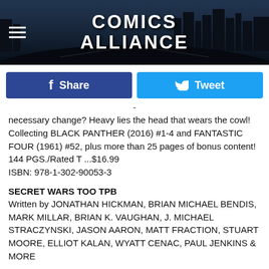[Figure (screenshot): Comics Alliance website header banner with city skyline silhouette in dark navy/black, hamburger menu icon on left, and COMICS ALLIANCE logo in white bold text center]
[Figure (screenshot): Social sharing buttons row: Facebook Share (dark blue) and Tweet (light blue)]
-
necessary change? Heavy lies the head that wears the cowl! Collecting BLACK PANTHER (2016) #1-4 and FANTASTIC FOUR (1961) #52, plus more than 25 pages of bonus content! 144 PGS./Rated T ...$16.99
ISBN: 978-1-302-90053-3
SECRET WARS TOO TPB
Written by JONATHAN HICKMAN, BRIAN MICHAEL BENDIS, MARK MILLAR, BRIAN K. VAUGHAN, J. MICHAEL STRACZYNSKI, JASON AARON, MATT FRACTION, STUART MOORE, ELLIOT KALAN, WYATT CENAC, PAUL JENKINS & MORE